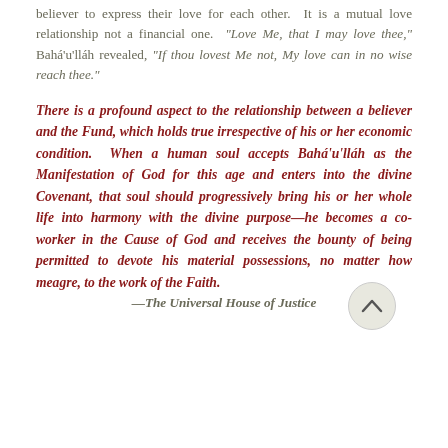believer to express their love for each other. It is a mutual love relationship not a financial one. "Love Me, that I may love thee," Bahá'u'lláh revealed, "If thou lovest Me not, My love can in no wise reach thee."
There is a profound aspect to the relationship between a believer and the Fund, which holds true irrespective of his or her economic condition. When a human soul accepts Bahá'u'lláh as the Manifestation of God for this age and enters into the divine Covenant, that soul should progressively bring his or her whole life into harmony with the divine purpose—he becomes a co-worker in the Cause of God and receives the bounty of being permitted to devote his material possessions, no matter how meagre, to the work of the Faith.
—The Universal House of Justice